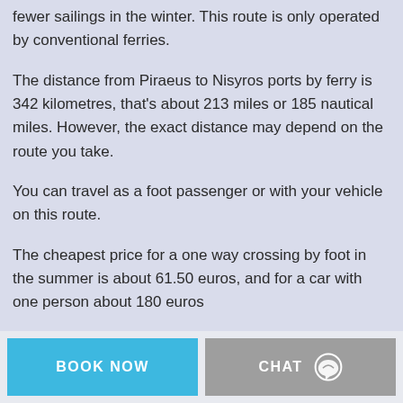fewer sailings in the winter. This route is only operated by conventional ferries.
The distance from Piraeus to Nisyros ports by ferry is 342 kilometres, that's about 213 miles or 185 nautical miles. However, the exact distance may depend on the route you take.
You can travel as a foot passenger or with your vehicle on this route.
The cheapest price for a one way crossing by foot in the summer is about 61.50 euros, and for a car with one person about 180 euros
BOOK NOW
CHAT